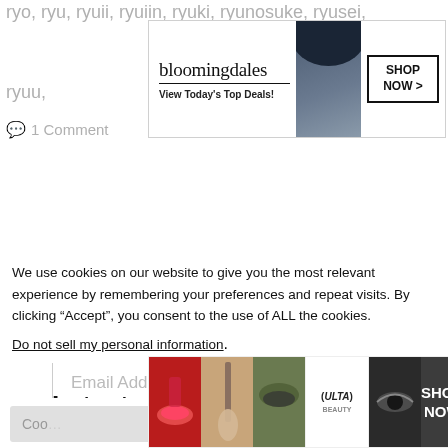ryo, ryu, ryuii, ryuiin, ryuki, ryunosuke, ryusei, ryuu,
[Figure (screenshot): Bloomingdale's advertisement banner with logo, 'View Today's Top Deals!' tagline, a model in a hat, and 'SHOP NOW >' button]
1 Comment
Email Address
Subscribe
Latest posts
We use cookies on our website to give you the most relevant experience by remembering your preferences and repeat visits. By clicking “Accept”, you consent to the use of ALL the cookies.
Do not sell my personal information.
CLOSE
[Figure (screenshot): ULTA Beauty advertisement banner with makeup imagery, ULTA logo, and 'SHOP NOW' button]